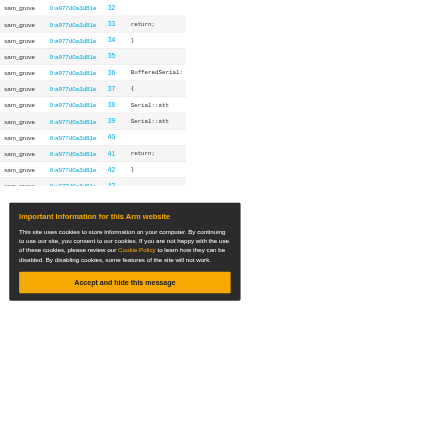| User | Commit | Line | Code |
| --- | --- | --- | --- |
| sam_grove | 0:a977d0a3d81e | 32 |  |
| sam_grove | 0:a977d0a3d81e | 33 | return; |
| sam_grove | 0:a977d0a3d81e | 34 | } |
| sam_grove | 0:a977d0a3d81e | 35 |  |
| sam_grove | 0:a977d0a3d81e | 36 | BufferedSerial: |
| sam_grove | 0:a977d0a3d81e | 37 | { |
| sam_grove | 0:a977d0a3d81e | 38 | Serial::att |
| sam_grove | 0:a977d0a3d81e | 39 | Serial::att |
| sam_grove | 0:a977d0a3d81e | 40 |  |
| sam_grove | 0:a977d0a3d81e | 41 | return; |
| sam_grove | 0:a977d0a3d81e | 42 | } |
| sam_grove | 0:a977d0a3d81e | 43 |  |
Important Information for this Arm website
This site uses cookies to store information on your computer. By continuing to use our site, you consent to our cookies. If you are not happy with the use of these cookies, please review our Cookie Policy to learn how they can be disabled. By disabling cookies, some features of the site will not work.
Accept and hide this message